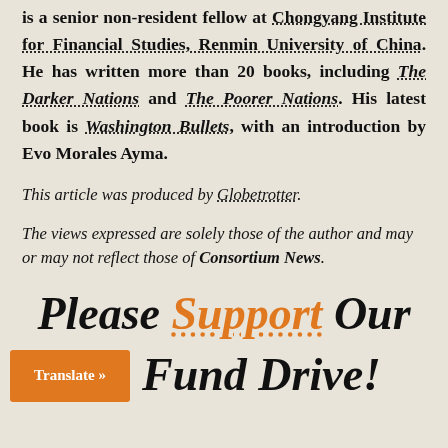is a senior non-resident fellow at Chongyang Institute for Financial Studies, Renmin University of China. He has written more than 20 books, including The Darker Nations and The Poorer Nations. His latest book is Washington Bullets, with an introduction by Evo Morales Ayma.
This article was produced by Globetrotter.
The views expressed are solely those of the author and may or may not reflect those of Consortium News.
Please Support Our
Fund Drive!